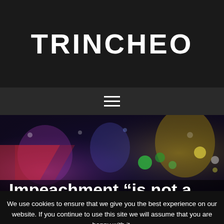TRINCHEO
[Figure (other): Hamburger menu icon (three horizontal lines) on dark background]
[Figure (photo): Concert/event photo with colorful stage lights and crowd, overlaid with partial article headline text: Impeachment “is not a]
Impeachment “is not a
We use cookies to ensure that we give you the best experience on our website. If you continue to use this site we will assume that you are happy with it.
Ok    Read more